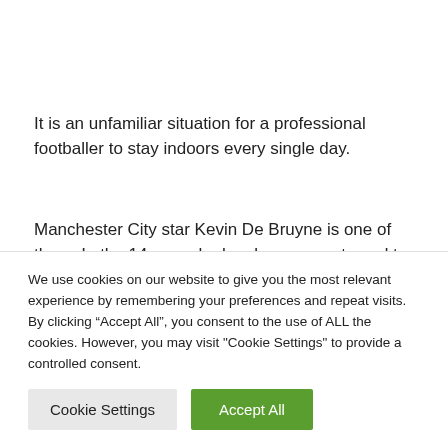It is an unfamiliar situation for a professional footballer to stay indoors every single day.
Manchester City star Kevin De Bruyne is one of them. In the 14 years he has been accustomed to leaving the house each day, but it's over under the corona-crisis, he says in an
We use cookies on our website to give you the most relevant experience by remembering your preferences and repeat visits. By clicking “Accept All”, you consent to the use of ALL the cookies. However, you may visit "Cookie Settings" to provide a controlled consent.